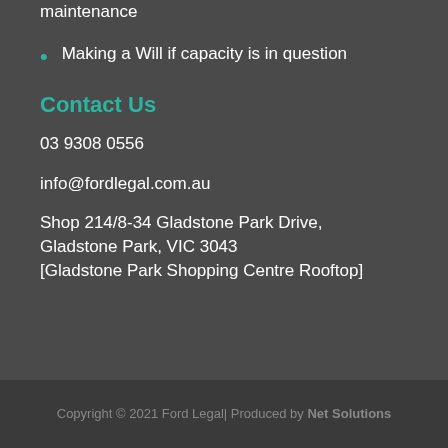Commercial leases – responsibility for repairs and maintenance
Making a Will if capacity is in question
Contact Us
03 9308 0556
info@fordlegal.com.au
Shop 214/8-34 Gladstone Park Drive, Gladstone Park, VIC 3043
[Gladstone Park Shopping Centre Rooftop]
Copyright © 2021 Ford Legal| Produced by Net Solutions